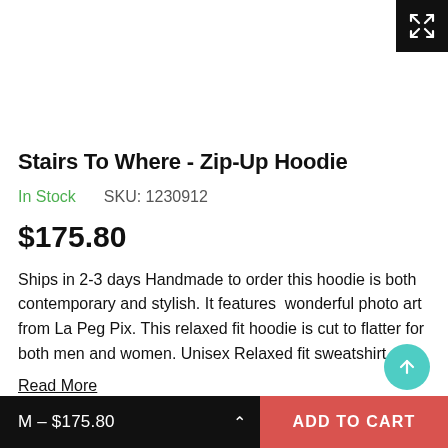[Figure (screenshot): Expand/fullscreen icon button in top-right corner on black background]
Stairs To Where - Zip-Up Hoodie
In Stock    SKU: 1230912
$175.80
Ships in 2-3 days Handmade to order this hoodie is both contemporary and stylish. It features  wonderful photo art from La Peg Pix. This relaxed fit hoodie is cut to flatter for both men and women. Unisex Relaxed fit sweatshirt...
Read More
M – $175.80   ADD TO CART